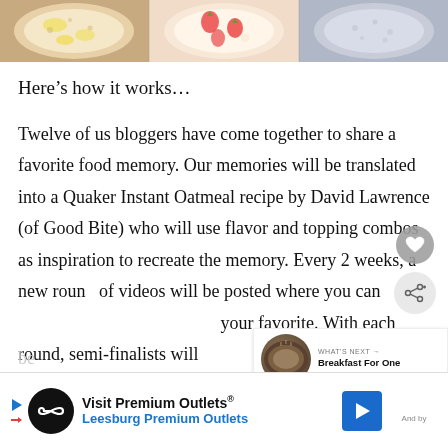[Figure (photo): Three bowls of oatmeal/breakfast food photographed from above, partially cropped at top of page]
Here’s how it works…
Twelve of us bloggers have come together to share a favorite food memory. Our memories will be translated into a Quaker Instant Oatmeal recipe by David Lawrence (of Good Bite) who will use flavor and topping combos as inspiration to recreate the memory. Every 2 weeks, a new round of videos will be posted where you can [vote for] your favorite. With each round, semi-finalists will be [announced and] bl[oggers...]
[Figure (photo): What’s Next thumbnail showing a bowl of breakfast food]
[Figure (infographic): Visit Premium Outlets advertisement banner with Leesburg Premium Outlets text and navigation arrow icon]